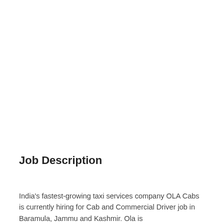Job Description
India's fastest-growing taxi services company OLA Cabs is currently hiring for Cab and Commercial Driver job in Baramula, Jammu and Kashmir. Ola is